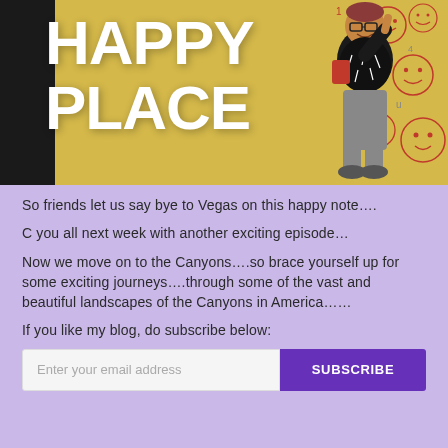[Figure (photo): A person standing in front of a large illuminated 'HAPPY PLACE' sign on a yellow brick wall with doodle drawings]
So friends let us say bye to Vegas on this happy note….
C you all next week with another exciting episode…
Now we move on to the Canyons….so brace yourself up for some exciting journeys….through some of the vast and beautiful landscapes of the Canyons in America……
If you like my blog, do subscribe below:
Enter your email address  SUBSCRIBE